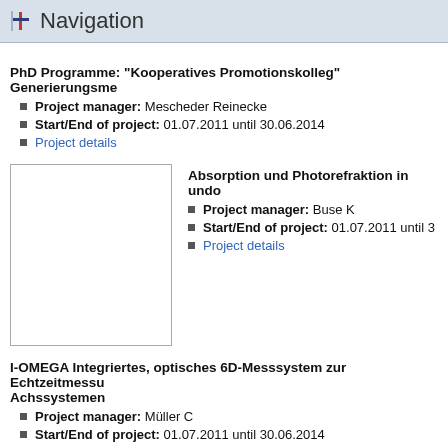Navigation
PhD Programme: "Kooperatives Promotionskolleg" Generierungsme...
Project manager: Mescheder Reinecke
Start/End of project: 01.07.2011 until 30.06.2014
Project details
[Figure (photo): Thumbnail image placeholder (white box with border)]
Absorption und Photorefraktion in undo...
Project manager: Buse K
Start/End of project: 01.07.2011 until ...
Project details
I-OMEGA Integriertes, optisches 6D-Messsystem zur Echtzeitmessun... Achssystemen
Project manager: Müller C
Start/End of project: 01.07.2011 until 30.06.2014
Project details